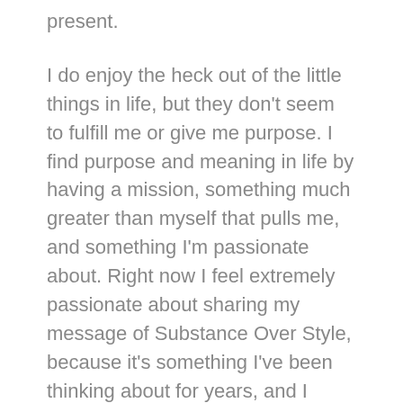present.
I do enjoy the heck out of the little things in life, but they don't seem to fulfill me or give me purpose. I find purpose and meaning in life by having a mission, something much greater than myself that pulls me, and something I'm passionate about. Right now I feel extremely passionate about sharing my message of Substance Over Style, because it's something I've been thinking about for years, and I know it's been valuable for me.
I think the wise thing to do here, something I need to work on, is developing my spirituality and equanimity. That is, do more meditation